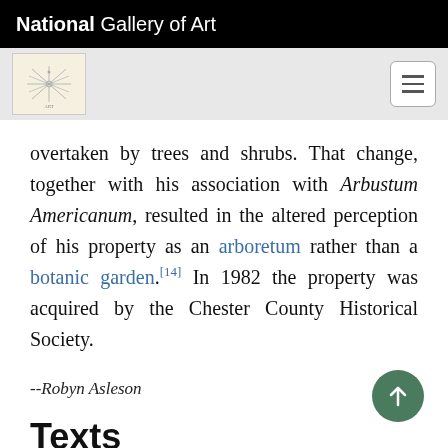National Gallery of Art
overtaken by trees and shrubs. That change, together with his association with Arbustum Americanum, resulted in the altered perception of his property as an arboretum rather than a botanic garden.[14] In 1982 the property was acquired by the Chester County Historical Society.
--Robyn Asleson
Texts
Fothergill, John, March 2, 1767, letter from